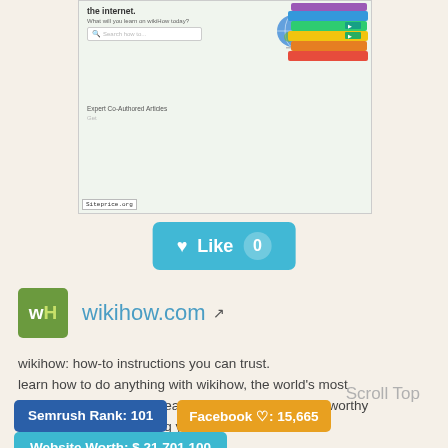[Figure (screenshot): Screenshot of wikihow.com website showing search bar, globe icon, book stack, Expert Co-Authored Articles section, and Siteprice.org label]
[Figure (infographic): Teal Like button with heart icon showing count 0]
[Figure (logo): WikiHow logo: green square with wH letters]
wikihow.com
wikihow: how-to instructions you can trust. learn how to do anything with wikihow, the world's most popular how-to website. easy, well-researched, trustworthy instructions for everything you need to know.
Scroll Top
Semrush Rank: 101
Facebook ♡: 15,665
Website Worth: $ 21,701,100